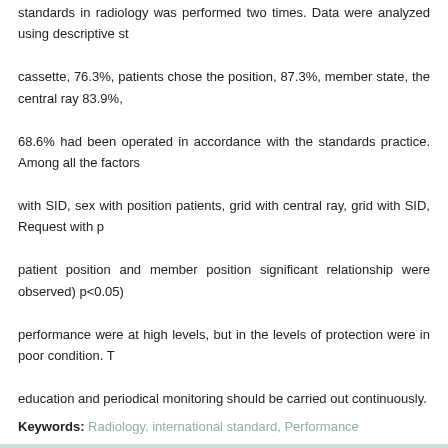standards in radiology was performed two times. Data were analyzed using descriptive st... cassette, 76.3%, patients chose the position, 87.3%, member state, the central ray 83.9%, ... 68.6% had been operated in accordance with the standards practice. Among all the factors... with SID, sex with position patients, grid with central ray, grid with SID, Request with p... patient position and member position significant relationship were observed) p<0.05)... performance were at high levels, but in the levels of protection were in poor condition. T... education and periodical monitoring should be carried out continuously.
Keywords: Radiology, international standard, Performance
Full-Text [PDF 324 kb]    (1481 Downloads)
Type of Study: Research | Subject: Special
Received: 2015/04/11 | Accepted: 2015/04/11 | Published: 2015/04/11
Add your comments about this article
Your username or Email: Your Name or Email